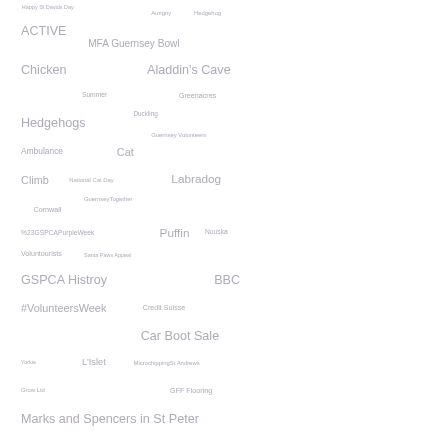[Figure (infographic): Word cloud containing various terms related to GSPCA (Guernsey Society for the Prevention of Cruelty to Animals) and related topics, displayed in varying font sizes and shades of grey/purple-grey. Terms include: Happy St Davids Day, Aurigny, Hedgehog, ACTIVE, MFA Guernsey Bowl, Chicken, Aladdin's Cave, Summer, Greenacres, Duckling, Hedgehogs, Guernsey Volunteers, Ambulance, Cat, Climb, National Cat Day, Labradog, GuernseyTogether, Cornwall, %23GSPCAPurpleWeek, Puffin, Nouska, Voluntourists, Santa Paws Appeal, GSPCA Histroy, BBC, #VolunteersWeek, Credit Suisse, Car Boot Sale, Yorkie, L'Islet, MicrochippingSt Andrews, Grow Ltd, GFF Flooring, Marks and Spencers in St Peter]